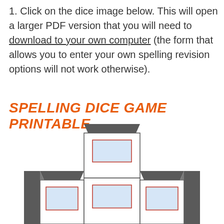1. Click on the dice image below. This will open a larger PDF version that you will need to download to your own computer (the form that allows you to enter your own spelling revision options will not work otherwise).
SPELLING DICE GAME PRINTABLE
[Figure (illustration): A dice net/template showing a cross-shaped unfolded cube. The top face has a trapezoid roof shape in dark gray. The middle row shows three square faces side by side (left, center, right), each with a light blue rectangle bordered in red inside. The center face has a trapezoid at the top and bottom. The bottom portion is cut off.]